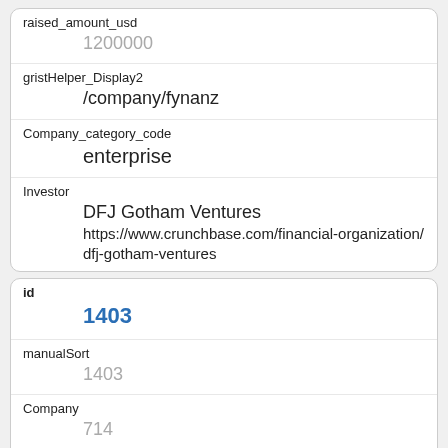| Field | Value |
| --- | --- |
| raised_amount_usd | 1200000 |
| gristHelper_Display2 | /company/fynanz |
| Company_category_code | enterprise |
| Investor | DFJ Gotham Ventures
https://www.crunchbase.com/financial-organization/dfj-gotham-ventures |
| Field | Value |
| --- | --- |
| id | 1403 |
| manualSort | 1403 |
| Company | 714 |
| investor_permalink | /financial-organization/eniac-ventures |
| investor_name |  |